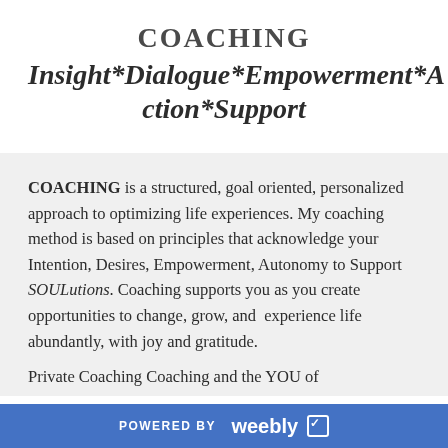COACHING
Insight*Dialogue*Empowerment*Action*Support
COACHING is a structured, goal oriented, personalized approach to optimizing life experiences. My coaching method is based on principles that acknowledge your Intention, Desires, Empowerment, Autonomy to Support SOULutions. Coaching supports you as you create opportunities to change, grow, and  experience life abundantly, with joy and gratitude.
POWERED BY weebly